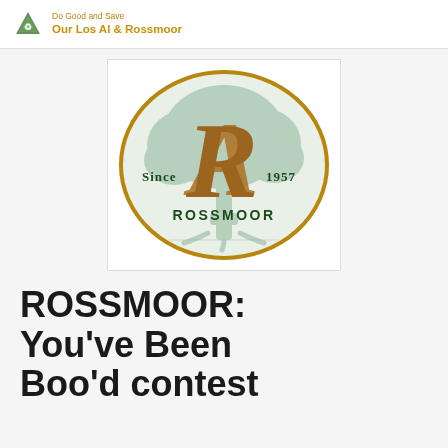Do Good and Save
Our Los Al & Rossmoor
[Figure (logo): Rossmoor logo: an oval with brown border containing a stylized 'R' monogram in brown/gold over a green oak tree background. Text reads 'Since' on the left, '1957' on the right, and 'ROSSMOOR' at the bottom in dark green serif lettering.]
ROSSMOOR: You've Been Boo'd contest